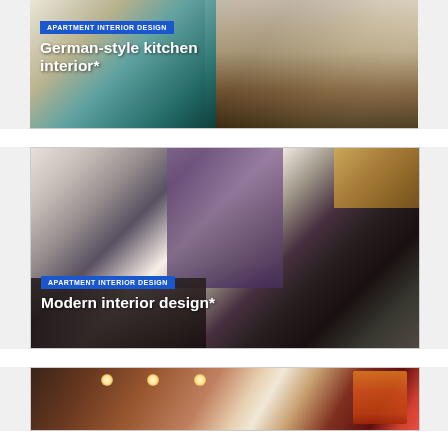[Figure (photo): German-style kitchen interior photo with teal/turquoise cabinetry and white cabinets]
APARTMENT INTERIOR DESIGN
German-style kitchen interior*
[Figure (photo): Modern living room interior with Las Vegas mural wall, purple curtains, drum kit, and black leather sofa]
APARTMENT INTERIOR DESIGN
Modern interior design*
[Figure (photo): Partial view of a room with warm red and cream tones, recessed lighting]